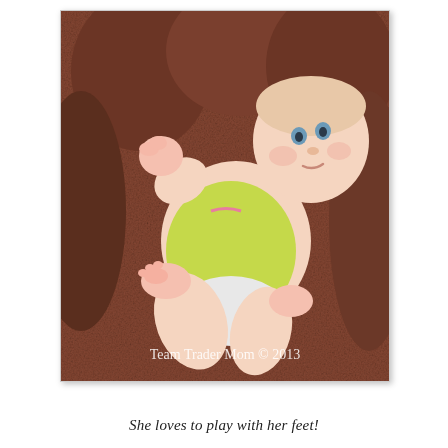[Figure (photo): A baby girl in a yellow-green onesie with pink trim lies on her back in a brown textured armchair, reaching her legs up and looking at the camera. Watermark reads 'Team Trader Mom © 2013'.]
She loves to play with her feet!